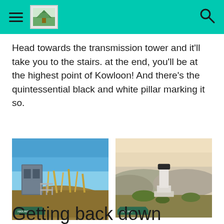Navigation header with hamburger menu, logo, and search icon
Head towards the transmission tower and it'll take you to the stairs. at the end, you'll be at the highest point of Kowloon! And there's the quintessential black and white pillar marking it so.
[Figure (photo): Photo of a transmission tower building on a hill with tall golden grasses and blue sky, with a metal railing staircase leading up the hill.]
[Figure (photo): Photo of a black and white trig pillar marker on a concrete base at the highest point of Kowloon, with mountains and hazy sky in the background.]
Getting back down